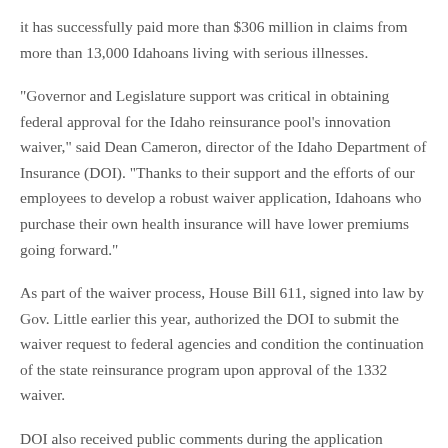it has successfully paid more than $306 million in claims from more than 13,000 Idahoans living with serious illnesses.
"Governor and Legislature support was critical in obtaining federal approval for the Idaho reinsurance pool's innovation waiver," said Dean Cameron, director of the Idaho Department of Insurance (DOI). "Thanks to their support and the efforts of our employees to develop a robust waiver application, Idahoans who purchase their own health insurance will have lower premiums going forward."
As part of the waiver process, House Bill 611, signed into law by Gov. Little earlier this year, authorized the DOI to submit the waiver request to federal agencies and condition the continuation of the state reinsurance program upon approval of the 1332 waiver.
DOI also received public comments during the application process.
The Idaho State's 1332 Waiver Approval and Data Sheet is posted online at https://www.cms.gov/CCIIO/Programs-and-Initiatives/State-Innovation-